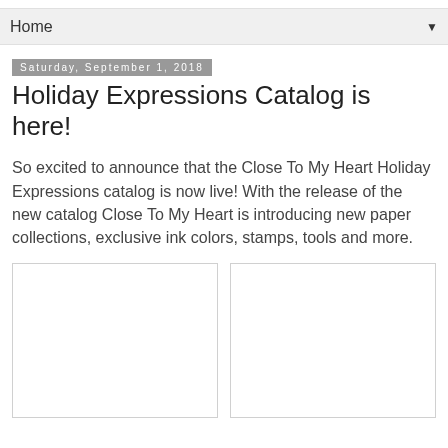Home
Saturday, September 1, 2018
Holiday Expressions Catalog is here!
So excited to announce that the Close To My Heart Holiday Expressions catalog is now live! With the release of the new catalog Close To My Heart is introducing new paper collections, exclusive ink colors, stamps, tools and more.
[Figure (photo): Left image placeholder]
[Figure (photo): Right image placeholder]